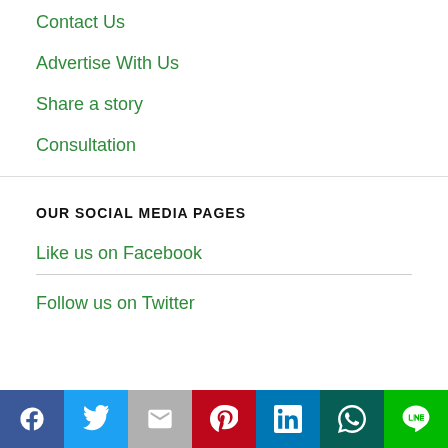Contact Us
Advertise With Us
Share a story
Consultation
OUR SOCIAL MEDIA PAGES
Like us on Facebook
Follow us on Twitter
[Figure (infographic): Social media sharing bar with icons: Facebook, Twitter, Gmail, Pinterest, LinkedIn, WhatsApp, LINE]